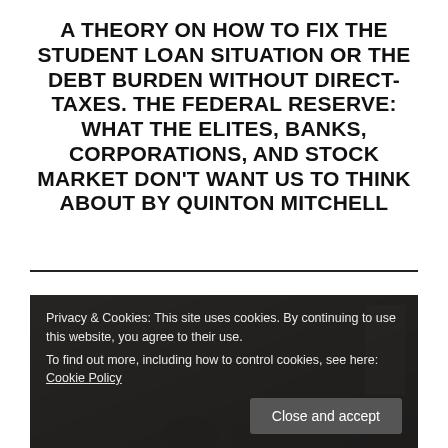A THEORY ON HOW TO FIX THE STUDENT LOAN SITUATION OR THE DEBT BURDEN WITHOUT DIRECT-TAXES. THE FEDERAL RESERVE: WHAT THE ELITES, BANKS, CORPORATIONS, AND STOCK MARKET DON'T WANT US TO THINK ABOUT BY QUINTON MITCHELL
[Figure (photo): A photograph of people, partially obscured by a cookie consent banner overlay at the bottom]
Privacy & Cookies: This site uses cookies. By continuing to use this website, you agree to their use.
To find out more, including how to control cookies, see here: Cookie Policy